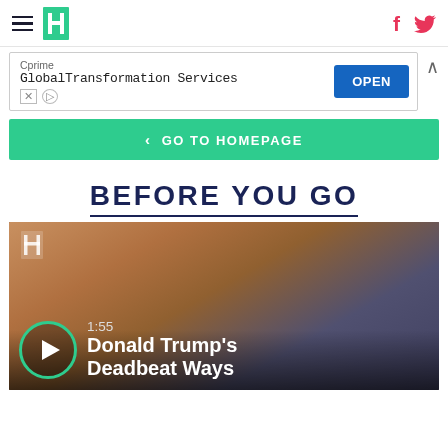HuffPost navigation header with hamburger menu, logo, Facebook and Twitter icons
[Figure (screenshot): Advertisement banner: Cprime GlobalTransformation Services with OPEN button]
< GO TO HOMEPAGE
BEFORE YOU GO
[Figure (screenshot): Video thumbnail showing Donald Trump's face with play button overlay, time 1:55, title 'Donald Trump's Deadbeat Ways']